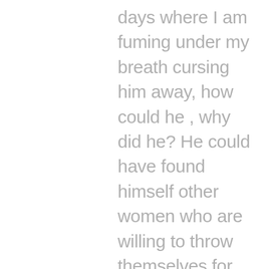days where I am fuming under my breath cursing him away, how could he , why did he? He could have found himself other women who are willing to throw themselves for him or even have one night stands, why come to me and make false promises , even win my parents heart . It hurts me lot to see my parents hurt for me. I am the